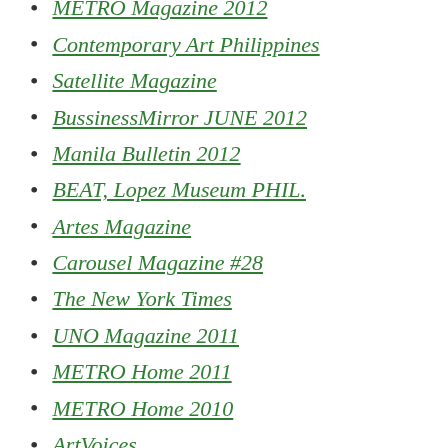METRO Magazine 2012
Contemporary Art Philippines
Satellite Magazine
BussinessMirror JUNE 2012
Manila Bulletin 2012
BEAT, Lopez Museum PHIL.
Artes Magazine
Carousel Magazine #28
The New York Times
UNO Magazine 2011
METRO Home 2011
METRO Home 2010
ArtVoices
American Artist: Drawing
Younger Than Jesus
HYPHEN Magazine
Boog City
Art Dissident
A Wrinkle In Time